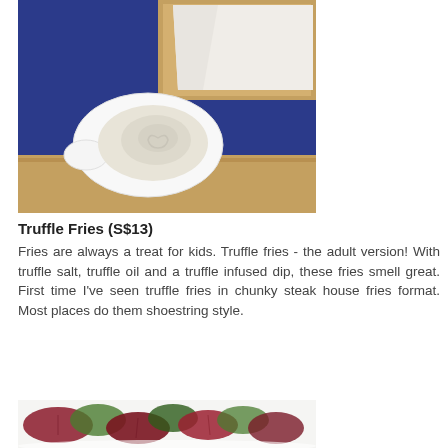[Figure (photo): Overhead photo of truffle fries in a wooden box with parchment paper and a white ceramic dipping sauce dish containing a creamy truffle dip, on a dark blue placemat on a wooden surface.]
Truffle Fries (S$13)
Fries are always a treat for kids. Truffle fries - the adult version! With truffle salt, truffle oil and a truffle infused dip, these fries smell great. First time I've seen truffle fries in chunky steak house fries format. Most places do them shoestring style.
[Figure (photo): Close-up photo of a salad with dark red and green leaves in a white bowl, partially visible at the bottom of the page.]